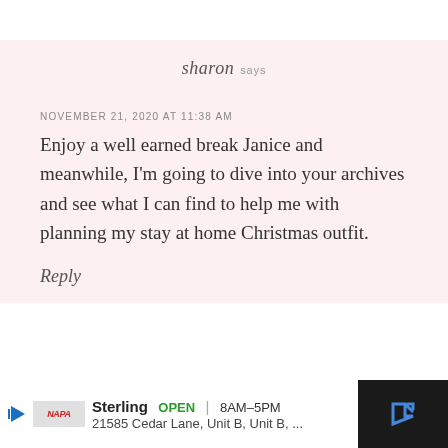sharon says
NOVEMBER 21, 2020 AT 11:38 AM
Enjoy a well earned break Janice and meanwhile, I'm going to dive into your archives and see what I can find to help me with planning my stay at home Christmas outfit.
Reply